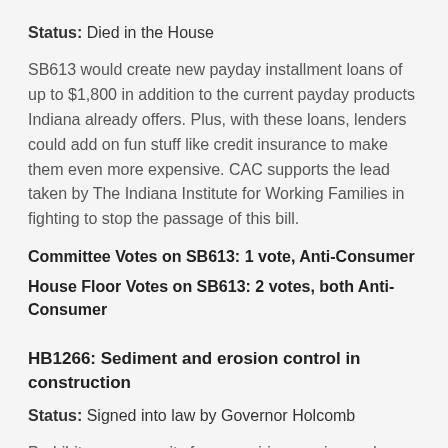Status: Died in the House
SB613 would create new payday installment loans of up to $1,800 in addition to the current payday products Indiana already offers. Plus, with these loans, lenders could add on fun stuff like credit insurance to make them even more expensive. CAC supports the lead taken by The Indiana Institute for Working Families in fighting to stop the passage of this bill.
Committee Votes on SB613: 1 vote, Anti-Consumer
House Floor Votes on SB613: 2 votes, both Anti-Consumer
HB1266: Sediment and erosion control in construction
Status: Signed into law by Governor Holcomb
Prohibits a community from requiring erosion and sediment control measures that are more stringent than those required by the